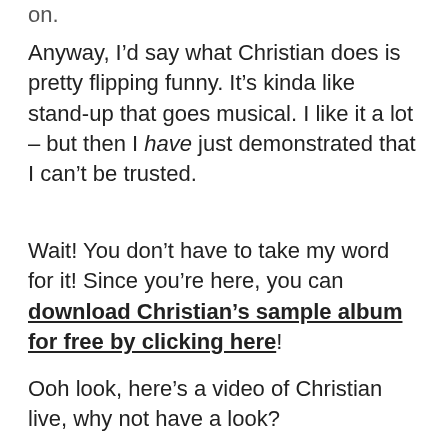on.
Anyway, I’d say what Christian does is pretty flipping funny. It’s kinda like stand-up that goes musical. I like it a lot – but then I have just demonstrated that I can’t be trusted.
Wait! You don’t have to take my word for it! Since you’re here, you can download Christian’s sample album for free by clicking here!
Ooh look, here’s a video of Christian live, why not have a look?